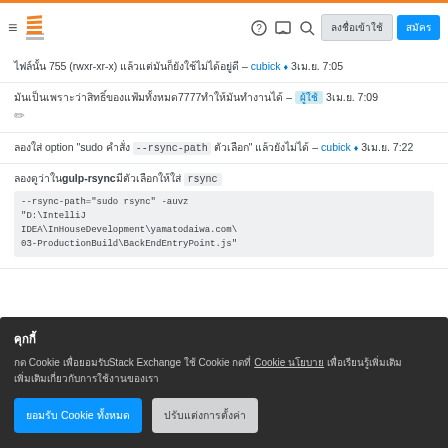Stack Overflow navigation bar with hamburger menu, logo, help, chat, search, login and signup buttons
ฟายล์นี้ 755 (rwxr-xr-x) แล้วแต่มันก็ยังใช้ไม่ได้อยู่ดี – cubick ♦ 3เม.ย. 7:05
มันเป็นเพราะว่าสิทธิ์ของแฟ้ม7777ทำให้มันทำงานได้ – [user] 3เม.ย. 7:09 ✏
ลองใส่ option "sudo [command] --rsync-path [option]" แล้วยังไม่ได้ – cubick ♦ 3เม.ย. 7:22
ลองดูว่าใน gulp-rsync มีตัวเลือกให้ใส่ rsync --rsync-path="sudo rsync" -auvz "D:\IntelliJ IDEA\InHouseDevelopment\yamatodaiwa.com\03-ProductionBuild\BackEndEntryPoint.js"
คุกกี้
กด Cookie เพื่อยอมรับStack Exchange ใช้ Cookie กดที่ Cookie นโยบาย เพื่อเรียนรู้เพิ่มเติม
ยอมรับ Cookie ทั้งหมด
ปรับแต่งการตั้งค่า